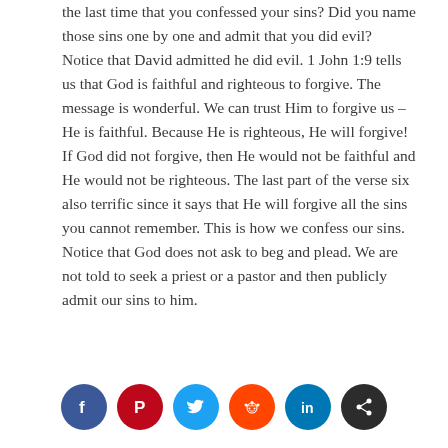the last time that you confessed your sins? Did you name those sins one by one and admit that you did evil? Notice that David admitted he did evil. 1 John 1:9 tells us that God is faithful and righteous to forgive. The message is wonderful. We can trust Him to forgive us – He is faithful. Because He is righteous, He will forgive! If God did not forgive, then He would not be faithful and He would not be righteous. The last part of the verse six also terrific since it says that He will forgive all the sins you cannot remember. This is how we confess our sins. Notice that God does not ask to beg and plead. We are not told to seek a priest or a pastor and then publicly admit our sins to him.
[Figure (other): Social media sharing icons: Facebook, Pinterest, Twitter, Reddit, LinkedIn, Share]